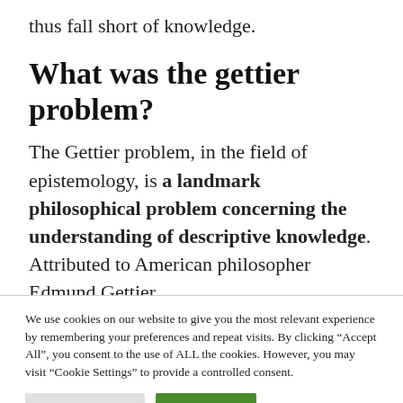thus fall short of knowledge.
What was the gettier problem?
The Gettier problem, in the field of epistemology, is a landmark philosophical problem concerning the understanding of descriptive knowledge. Attributed to American philosopher Edmund Gettier,
We use cookies on our website to give you the most relevant experience by remembering your preferences and repeat visits. By clicking “Accept All”, you consent to the use of ALL the cookies. However, you may visit “Cookie Settings” to provide a controlled consent.